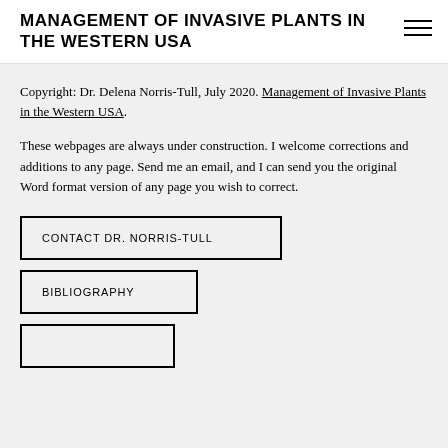MANAGEMENT OF INVASIVE PLANTS IN THE WESTERN USA
Copyright: Dr. Delena Norris-Tull, July 2020. Management of Invasive Plants in the Western USA.
These webpages are always under construction. I welcome corrections and additions to any page. Send me an email, and I can send you the original Word format version of any page you wish to correct.
CONTACT DR. NORRIS-TULL
BIBLIOGRAPHY